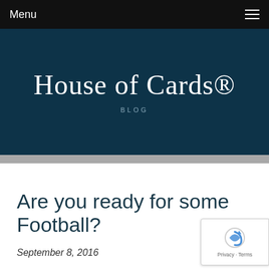Menu
House of Cards®
BLOG
Are you ready for some Football?
September 8, 2016